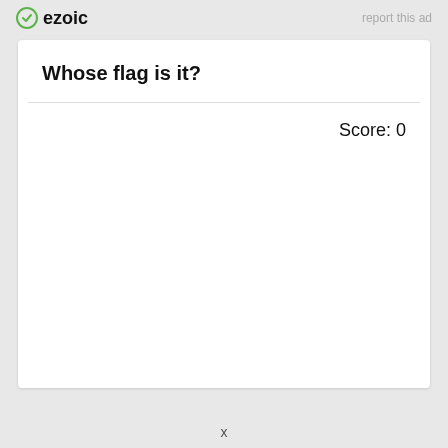ezoic   report this ad
Whose flag is it?
Score: 0